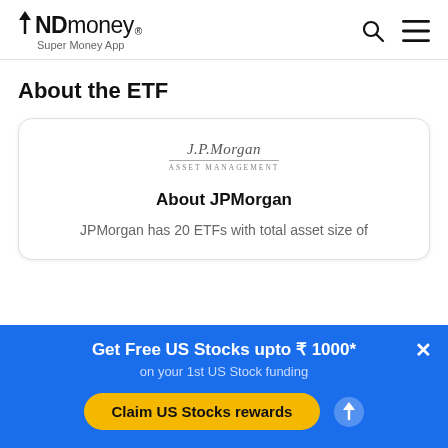INDmoney® Super Money App
About the ETF
[Figure (logo): J.P.Morgan Asset Management logo]
About JPMorgan
JPMorgan has 20 ETFs with total asset size of
Get Free US Stocks upto ₹ 1000* on your 1st US Stock funding
Claim US Stocks rewards